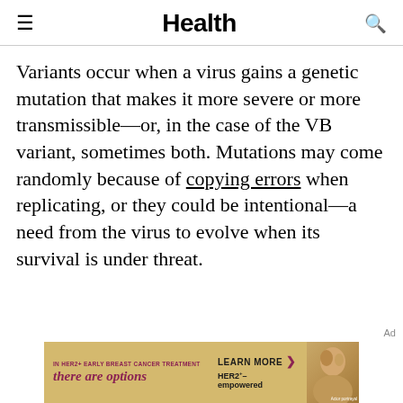Health
Variants occur when a virus gains a genetic mutation that makes it more severe or more transmissible—or, in the case of the VB variant, sometimes both. Mutations may come randomly because of copying errors when replicating, or they could be intentional—a need from the virus to evolve when its survival is under threat.
[Figure (other): Advertisement banner for HER2+ early breast cancer treatment: 'there are options' with 'LEARN MORE' button and HER2-empowered branding, featuring a portrait photo of a person (actor portrayal) on a golden/yellow background.]